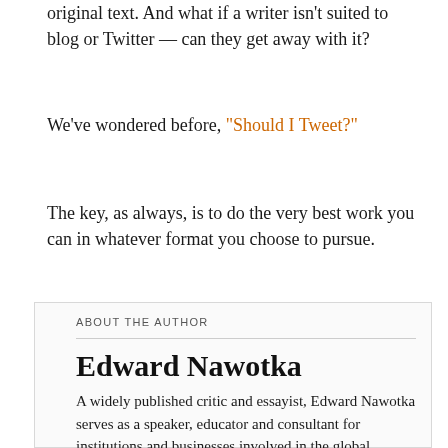original text. And what if a writer isn't suited to blog or Twitter — can they get away with it?
We've wondered before, "Should I Tweet?"
The key, as always, is to do the very best work you can in whatever format you choose to pursue.
ABOUT THE AUTHOR
Edward Nawotka
A widely published critic and essayist, Edward Nawotka serves as a speaker, educator and consultant for institutions and businesses involved in the global publishing and content industries. He